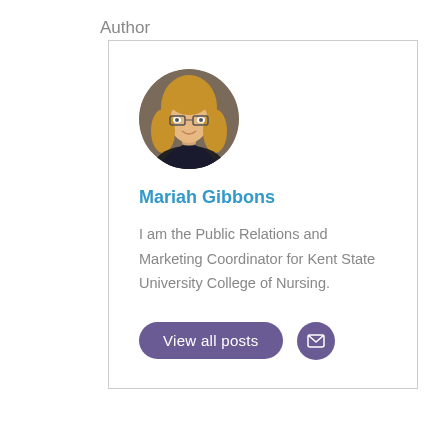Author
[Figure (photo): Circular headshot photo of Mariah Gibbons, a woman with long blonde curly hair wearing glasses and a dark blazer, smiling at the camera against a grey background.]
Mariah Gibbons
I am the Public Relations and Marketing Coordinator for Kent State University College of Nursing.
View all posts